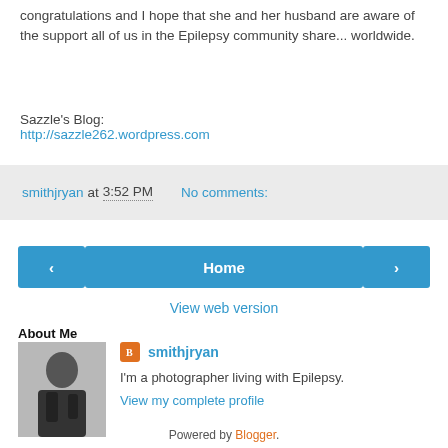congratulations and I hope that she and her husband are aware of the support all of us in the Epilepsy community share... worldwide.
Sazzle's Blog:
http://sazzle262.wordpress.com
smithjryan at 3:52 PM   No comments:
[Figure (screenshot): Navigation bar with left arrow button, Home button, and right arrow button, all in teal/blue color]
View web version
About Me
[Figure (photo): Profile photo of smithjryan, a person in dark clothing]
smithjryan
I'm a photographer living with Epilepsy.
View my complete profile
Powered by Blogger.